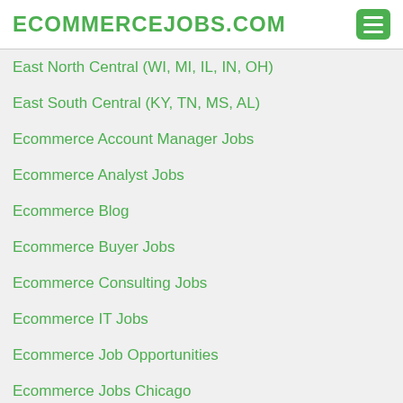ECOMMERCEJOBS.COM
East North Central (WI, MI, IL, IN, OH)
East South Central (KY, TN, MS, AL)
Ecommerce Account Manager Jobs
Ecommerce Analyst Jobs
Ecommerce Blog
Ecommerce Buyer Jobs
Ecommerce Consulting Jobs
Ecommerce IT Jobs
Ecommerce Job Opportunities
Ecommerce Jobs Chicago
Ecommerce Jobs in Philadelphia
Ecommerce Jobs in Phoenix Az